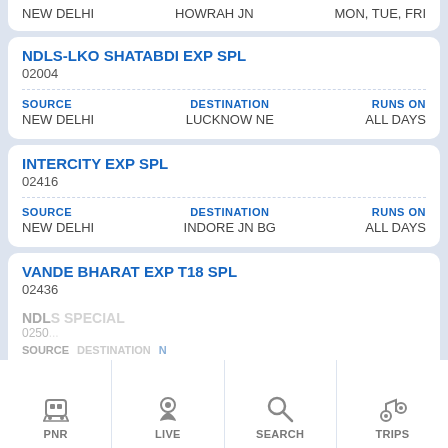NEW DELHI | HOWRAH JN | MON, TUE, FRI
NDLS-LKO SHATABDI EXP SPL
02004
SOURCE: NEW DELHI
DESTINATION: LUCKNOW NE
RUNS ON: ALL DAYS
INTERCITY EXP SPL
02416
SOURCE: NEW DELHI
DESTINATION: INDORE JN BG
RUNS ON: ALL DAYS
VANDE BHARAT EXP T18 SPL
02436
SOURCE: NEW DELHI
DESTINATION: VARANASI JN
RUNS ON: TUE, WED, FRI, SAT, SUN
NDS SPECIAL
0250...
SOURCE | DESTINATION N
PNR | LIVE | SEARCH | TRIPS